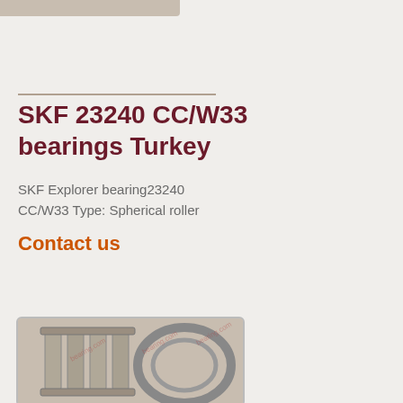SKF 23240 CC/W33 bearings Turkey
SKF Explorer bearing23240 CC/W33 Type: Spherical roller
Contact us
[Figure (photo): Photo of SKF 23240 CC/W33 spherical roller bearing components showing rollers, cage, and outer ring with watermark overlay]